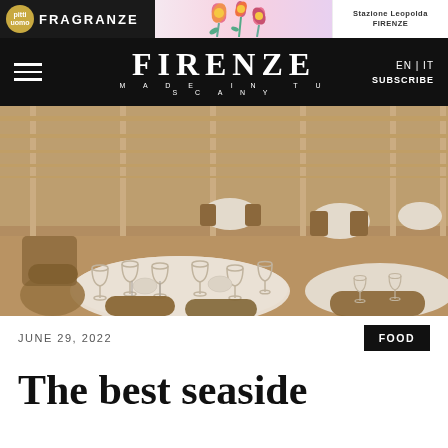[Figure (screenshot): Ad banner for FRAGRANZE with logo circles, floral graphic in center, and Stazione Leopolda Firenze text on right]
FIRENZE MADE IN TUSCANY — EN | IT — SUBSCRIBE
[Figure (photo): Beach restaurant dining setup with white tablecloths, wine glasses, rattan chairs, and wooden pergola on sandy beach at golden hour]
JUNE 29, 2022
FOOD
The best seaside